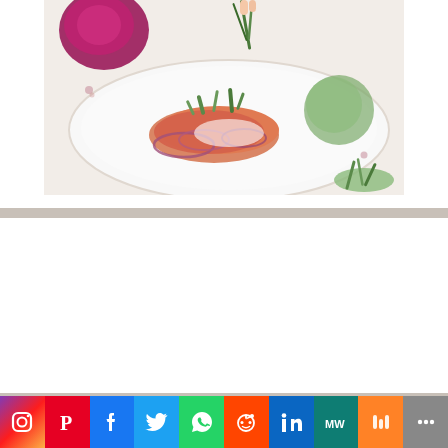[Figure (photo): Overhead view of a gourmet salmon dish on a white plate with red onions, fresh herbs being placed on top, with additional vegetables in background]
GUM & TOOTH RESTORER: BETTER THAN IMPLANTS!
[Figure (photo): Close-up of a woman smiling showing perfect white teeth with red lipstick]
[Figure (infographic): Social media sharing bar with icons for Instagram, Pinterest, Facebook, Twitter, WhatsApp, Reddit, LinkedIn, MeWe, Mix, and More]